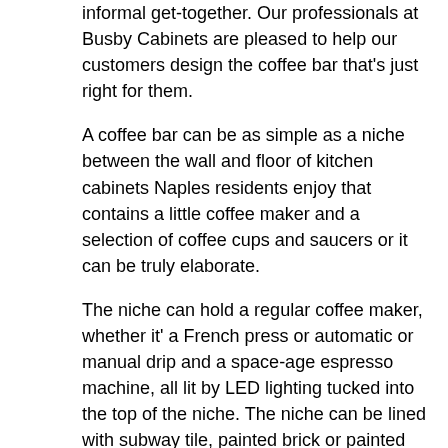informal get-together. Our professionals at Busby Cabinets are pleased to help our customers design the coffee bar that's just right for them.
A coffee bar can be as simple as a niche between the wall and floor of kitchen cabinets Naples residents enjoy that contains a little coffee maker and a selection of coffee cups and saucers or it can be truly elaborate.
The niche can hold a regular coffee maker, whether it' a French press or automatic or manual drip and a space-age espresso machine, all lit by LED lighting tucked into the top of the niche. The niche can be lined with subway tile, painted brick or painted with latex chalkboard paint that lets the host easily write and erase messages, including directions on how to use the coffee maker or the espresso machine for folks who've never seen one before. There might be room for a coffee grinder, plates of cookies, muffins, brownies or even a modest cake.